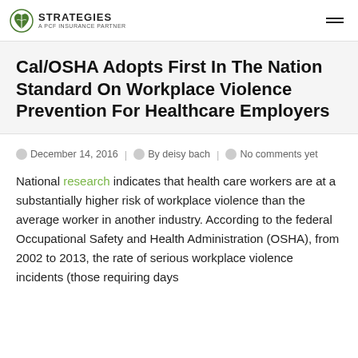STRATEGIES A PCF INSURANCE PARTNER
Cal/OSHA Adopts First In The Nation Standard On Workplace Violence Prevention For Healthcare Employers
December 14, 2016 | By deisy bach | No comments yet
National research indicates that health care workers are at a substantially higher risk of workplace violence than the average worker in another industry. According to the federal Occupational Safety and Health Administration (OSHA), from 2002 to 2013, the rate of serious workplace violence incidents (those requiring days